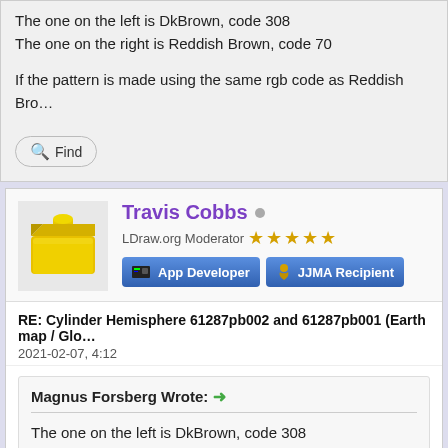The one on the left is DkBrown, code 308
The one on the right is Reddish Brown, code 70

If the pattern is made using the same rgb code as Reddish Bro...
Find
Travis Cobbs
LDraw.org Moderator ★★★★★
App Developer
JJMA Recipient
RE: Cylinder Hemisphere 61287pb002 and 61287pb001 (Earth map / Glo...
2021-02-07, 4:12
Magnus Forsberg Wrote:
The one on the left is DkBrown, code 308
The one on the right is Reddish Brown, code 70

If the pattern is made using the same rgb code as Reddish...